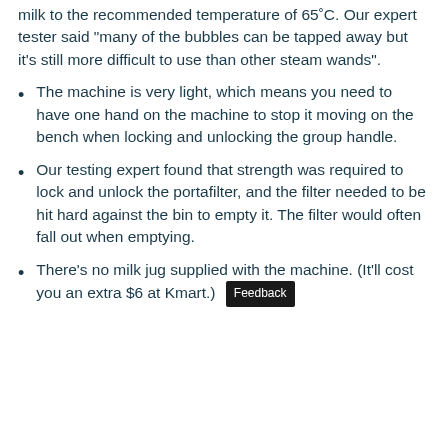milk to the recommended temperature of 65˚C. Our expert tester said "many of the bubbles can be tapped away but it's still more difficult to use than other steam wands".
The machine is very light, which means you need to have one hand on the machine to stop it moving on the bench when locking and unlocking the group handle.
Our testing expert found that strength was required to lock and unlock the portafilter, and the filter needed to be hit hard against the bin to empty it. The filter would often fall out when emptying.
There's no milk jug supplied with the machine. (It'll cost you an extra $6 at Kmart.) Feedback